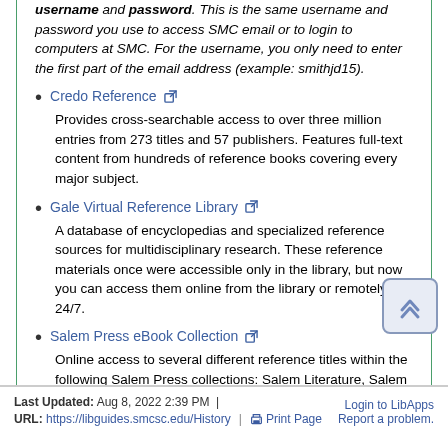username and password. This is the same username and password you use to access SMC email or to login to computers at SMC. For the username, you only need to enter the first part of the email address (example: smithjd15).
Credo Reference - Provides cross-searchable access to over three million entries from 273 titles and 57 publishers. Features full-text content from hundreds of reference books covering every major subject.
Gale Virtual Reference Library - A database of encyclopedias and specialized reference sources for multidisciplinary research. These reference materials once were accessible only in the library, but now you can access them online from the library or remotely 24/7.
Salem Press eBook Collection - Online access to several different reference titles within the following Salem Press collections: Salem Literature, Salem History, Salem Science, Salem Health and Salem Careers.
Last Updated: Aug 8, 2022 2:39 PM | URL: https://libguides.smcsc.edu/History | Print Page  Login to LibApps  Report a problem.